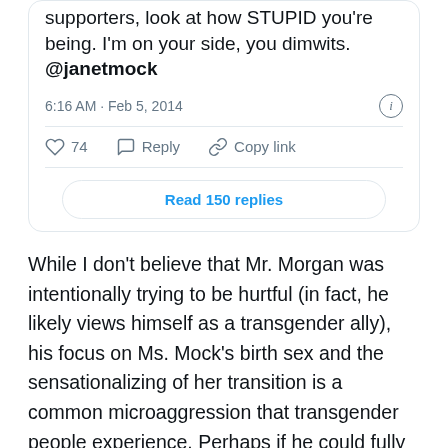[Figure (screenshot): Tweet screenshot showing partial text 'supporters, look at how STUPID you're being. I'm on your side, you dimwits. @janetmock', timestamp '6:16 AM · Feb 5, 2014', action bar with 74 likes, Reply, Copy link, and a 'Read 150 replies' button.]
While I don't believe that Mr. Morgan was intentionally trying to be hurtful (in fact, he likely views himself as a transgender ally), his focus on Ms. Mock's birth sex and the sensationalizing of her transition is a common microaggression that transgender people experience. Perhaps if he could fully empathize with transgender people and the dehumanization they experience daily, he would have not gotten so defensive. In fact, he might have been able to apologize and have